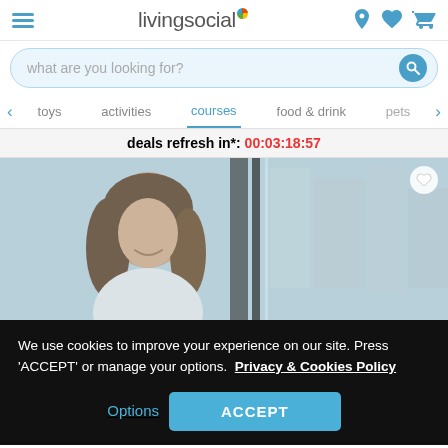livingsocial
what are you looking for?
toys  activities  courses  food & drink  pets
deals refresh in*: 00:03:18:57
[Figure (photo): Woman smiling, looking down, standing near a window with blurred buildings in background]
We use cookies to improve your experience on our site. Press 'ACCEPT' or manage your options.  Privacy & Cookies Policy
Options
ACCEPT